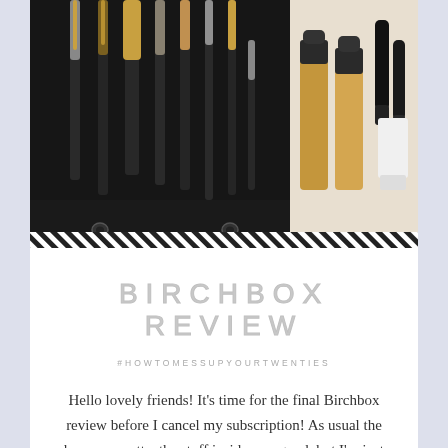[Figure (photo): A collection of makeup brushes in a black roll-up case, alongside several mascara tubes and foundation bottles on the right side]
BIRCHBOX REVIEW
#HOWTOMESSUPYOURTWENTIES
Hello lovely friends! It's time for the final Birchbox review before I cancel my subscription! As usual the box was pretty, the stuff inside was good, but I'm just adding useless items that I'll never use to my makeup collection because I either already have a